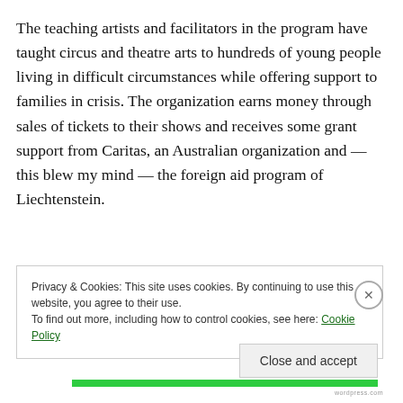The teaching artists and facilitators in the program have taught circus and theatre arts to hundreds of young people living in difficult circumstances while offering support to families in crisis. The organization earns money through sales of tickets to their shows and receives some grant support from Caritas, an Australian organization and — this blew my mind — the foreign aid program of Liechtenstein.
[Figure (photo): Dark photograph showing figures under blue stage lighting]
Privacy & Cookies: This site uses cookies. By continuing to use this website, you agree to their use. To find out more, including how to control cookies, see here: Cookie Policy
Close and accept